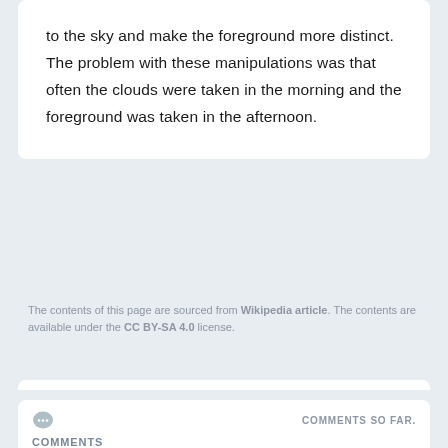to the sky and make the foreground more distinct. The problem with these manipulations was that often the clouds were taken in the morning and the foreground was taken in the afternoon.
The contents of this page are sourced from Wikipedia article. The contents are available under the CC BY-SA 4.0 license.
COMMENTS SO FAR.
COMMENTS